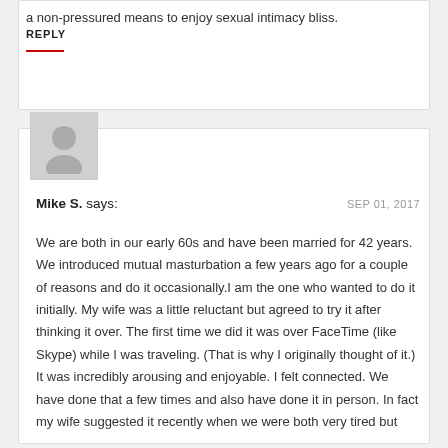a non-pressured means to enjoy sexual intimacy bliss.
REPLY
[Figure (illustration): Gray avatar placeholder icon showing a generic person silhouette]
Mike S. says:
SEP 01, 2017
We are both in our early 60s and have been married for 42 years. We introduced mutual masturbation a few years ago for a couple of reasons and do it occasionally.I am the one who wanted to do it initially. My wife was a little reluctant but agreed to try it after thinking it over. The first time we did it was over FaceTime (like Skype) while I was traveling. (That is why I originally thought of it.) It was incredibly arousing and enjoyable. I felt connected. We have done that a few times and also have done it in person. In fact my wife suggested it recently when we were both very tired but wanted to be together. We lay side-by-side facing each other